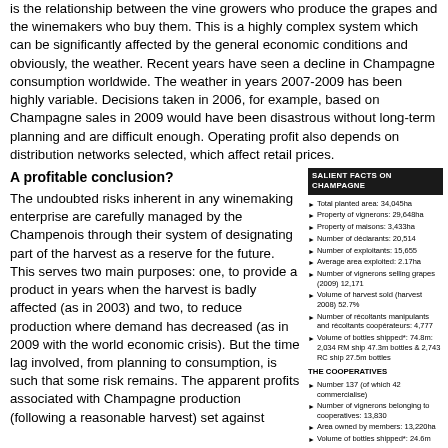is the relationship between the vine growers who produce the grapes and the winemakers who buy them. This is a highly complex system which can be significantly affected by the general economic conditions and obviously, the weather. Recent years have seen a decline in Champagne consumption worldwide. The weather in years 2007-2009 has been highly variable. Decisions taken in 2006, for example, based on Champagne sales in 2009 would have been disastrous without long-term planning and are difficult enough. Operating profit also depends on distribution networks selected, which affect retail prices.
A profitable conclusion?
The undoubted risks inherent in any winemaking enterprise are carefully managed by the Champenois through their system of designating part of the harvest as a reserve for the future. This serves two main purposes: one, to provide a product in years when the harvest is badly affected (as in 2003) and two, to reduce production where demand has decreased (as in 2009 with the world economic crisis). But the time lag involved, from planning to consumption, is such that some risk remains. The apparent profits associated with Champagne production (following a reasonable harvest) set against
| SALIENT FACTS ON CHAMPAGNE |
| --- |
| Total planted area: 34,045ha |
| Property of vignerons: 29,648ha |
| Property of maisons: 3,433ha |
| Number of déclarants: 20,514 |
| Number of exploitants: 15,655 |
| Average area exploited: 2.17ha |
| Number of vignerons selling grapes (2009) 12,171 |
| Volume of harvest sold (harvest 2008) 52.7% |
| Number of récoltants manipulants and récoltants coopérateurs: 4,777 |
| Volume of bottles shipped*: 74.8m: 2,034 RM ship 47.3m bottles & 2,743 RC ship 27.5m bottles |
| THE COOPERATIVES |
| Number 137 (of which 42 commercialise) |
| Number of vignerons belonging to cooperatives: 13,830 |
| Area owned by members: 13,220ha |
| Volume of bottles shipped*: 24.6m |
| THE MAISONS |
| Number of maisons: 325 |
| Volume of bottles shipped* 193.5m |
| SALES OF CHAMPAGNES |
| Volume of bottles shipped (2009: |